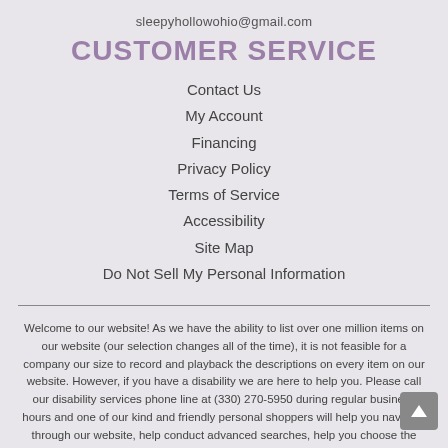sleepyhollowohio@gmail.com
CUSTOMER SERVICE
Contact Us
My Account
Financing
Privacy Policy
Terms of Service
Accessibility
Site Map
Do Not Sell My Personal Information
Welcome to our website! As we have the ability to list over one million items on our website (our selection changes all of the time), it is not feasible for a company our size to record and playback the descriptions on every item on our website. However, if you have a disability we are here to help you. Please call our disability services phone line at (330) 270-5950 during regular business hours and one of our kind and friendly personal shoppers will help you navigate through our website, help conduct advanced searches, help you choose the item you are looking for with the specifications you are seeking, read you the specifications of any item and consult with you about the